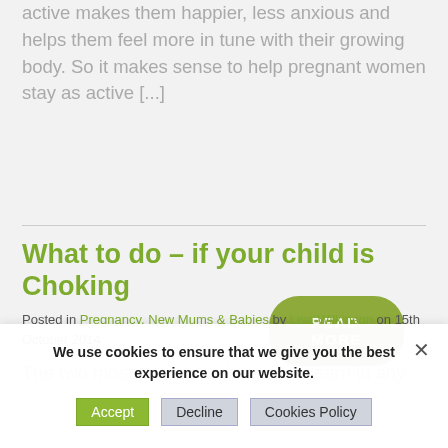active makes them happier, less anxious and helps them feel more in tune with their growing body. So it makes sense to help pregnant women stay as active [...]
READ MORE
What to do – if your child is Choking
Posted in Pregnancy, New Mums & Babies by Lisa Wilkinson on 15th October 2014
The two most important things you learn in any
We use cookies to ensure that we give you the best experience on our website. Accept Decline Cookies Policy